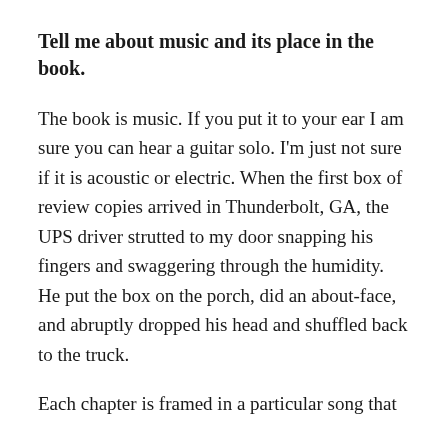Tell me about music and its place in the book.
The book is music. If you put it to your ear I am sure you can hear a guitar solo. I'm just not sure if it is acoustic or electric. When the first box of review copies arrived in Thunderbolt, GA, the UPS driver strutted to my door snapping his fingers and swaggering through the humidity. He put the box on the porch, did an about-face, and abruptly dropped his head and shuffled back to the truck.
Each chapter is framed in a particular song that